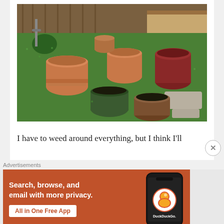[Figure (photo): Garden scene with multiple terracotta and ceramic pots of various sizes on green ground cover. Pots include large terracotta pot, green bowl, brown bowl, orange-red pot, and smaller pots. Stone stepping path on right. Wooden fence in background.]
I have to weed around everything, but I think I'll
Advertisements
[Figure (screenshot): DuckDuckGo advertisement banner. Orange/red background with white text: 'Search, browse, and email with more privacy. All in One Free App'. Right side shows a smartphone with DuckDuckGo logo and text.]